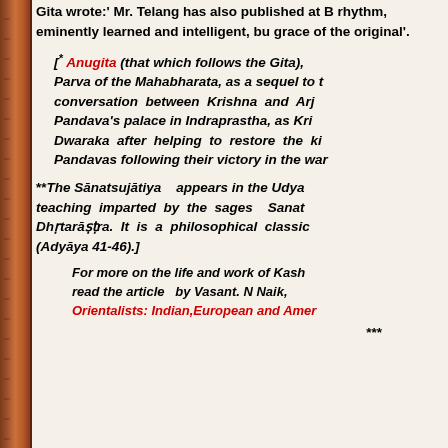Gita wrote:' Mr. Telang has also published at B rhythm, eminently learned and intelligent, bu grace of the original'.
[* Anugita (that which follows the Gita), Parva of the Mahabharata, as a sequel to t conversation between Krishna and Arj Pandava's palace in Indraprastha, as Kri Dwaraka after helping to restore the ki Pandavas following their victory in the war
**The Sānatsujātiya appears in the Udya teaching imparted by the sages Sanat Dhṛtarāṣṭra. It is a philosophical classic (Adyāya 41-46).]
For more on the life and work of Kash read the article by Vasant. N Naik, Orientalists: Indian,European and Amer
***